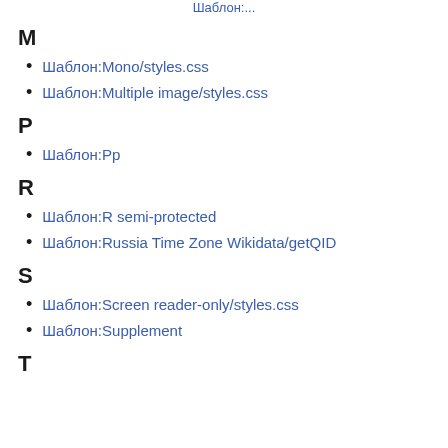M
Шаблон:Mono/styles.css
Шаблон:Multiple image/styles.css
P
Шаблон:Pp
R
Шаблон:R semi-protected
Шаблон:Russia Time Zone Wikidata/getQID
S
Шаблон:Screen reader-only/styles.css
Шаблон:Supplement
T